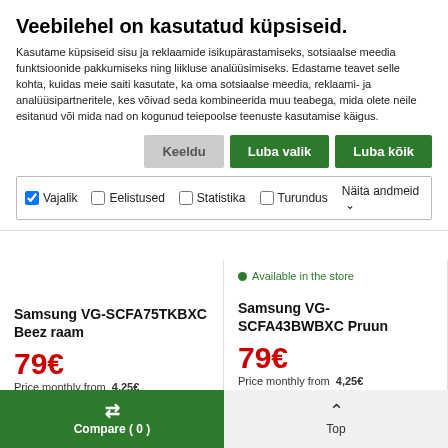Veebilehel on kasutatud küpsiseid.
Kasutame küpsiseid sisu ja reklaamide isikupärastamiseks, sotsiaalse meedia funktsioonide pakkumiseks ning liikluse analüüsimiseks. Edastame teavet selle kohta, kuidas meie saiti kasutate, ka oma sotsiaalse meedia, reklaami- ja analüüsipartneritele, kes võivad seda kombineerida muu teabega, mida olete neile esitanud või mida nad on kogunud teiepoolse teenuste kasutamise käigus.
Keeldu | Luba valik | Luba kõik
✓ Vajalik  ☐ Eelistused  ☐ Statistika  ☐ Turundus  Näita andmeid ∨
Available in the store
Samsung VG-SCFA75TKBXC Beez raam
79€
Price monthly from  4,25€
Add to cart
Samsung VG-SCFA43BWBXC Pruun
79€
Price monthly from  4,25€
Add to cart
Compare ( 0 )
Top